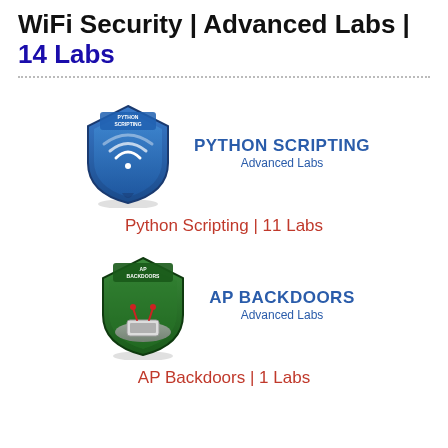WiFi Security | Advanced Labs | 14 Labs
[Figure (logo): Python Scripting Advanced Labs shield badge logo — blue shield with WiFi symbol and text PYTHON SCRIPTING]
PYTHON SCRIPTING
Advanced Labs
Python Scripting | 11 Labs
[Figure (logo): AP Backdoors Advanced Labs shield badge logo — green shield with router/device and text AP BACKDOORS]
AP BACKDOORS
Advanced Labs
AP Backdoors | 1 Labs